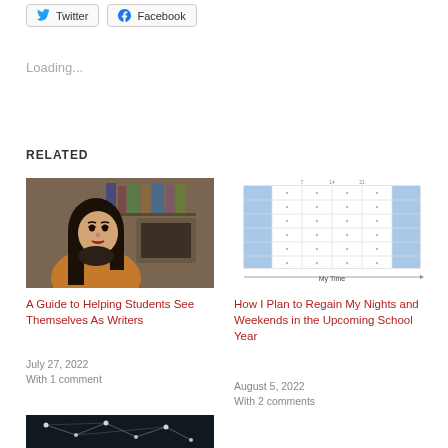[Figure (other): Twitter and Facebook share buttons]
Loading...
RELATED
[Figure (photo): Photo of a young woman looking over her shoulder, sitting at a desk with shelves behind her]
A Guide to Helping Students See Themselves As Writers
July 27, 2022
With 1 comment
[Figure (other): Calendar/schedule diagram with blue highlighted columns and 'My Time' label on x-axis]
How I Plan to Regain My Nights and Weekends in the Upcoming School Year
August 5, 2022
With 2 comments
[Figure (photo): Partial view of a dark image with network/constellation-like white dots and lines]